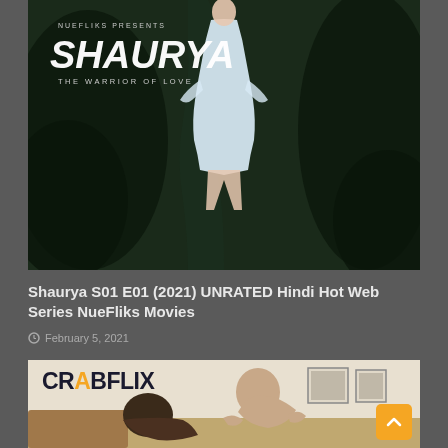[Figure (photo): Movie poster for 'Shaurya: The Warrior of Love' by NueFliks. Dark rocky background with a woman in white dress. Text: NUEFLIKS PRESENTS, SHAURYA, THE WARRIOR OF LOVE.]
Shaurya S01 E01 (2021) UNRATED Hindi Hot Web Series NueFliks Movies
February 5, 2021
[Figure (photo): Thumbnail image for a Crabflix video. Shows the CrabFlix logo (with B in orange) and adult content scene.]